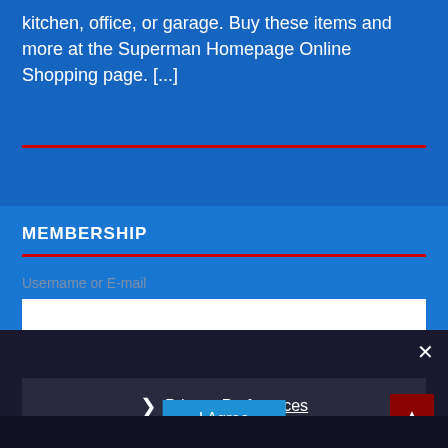kitchen, office, or garage. Buy these items and more at the Superman Homepage Online Shopping page. [...]
MEMBERSHIP
Username or E-mail
[Figure (screenshot): Empty white input text field for username or email]
[Figure (screenshot): Privacy preferences overlay with close button, Privacy Preferences link with chevron, I Agree button, and back-to-top arrow button]